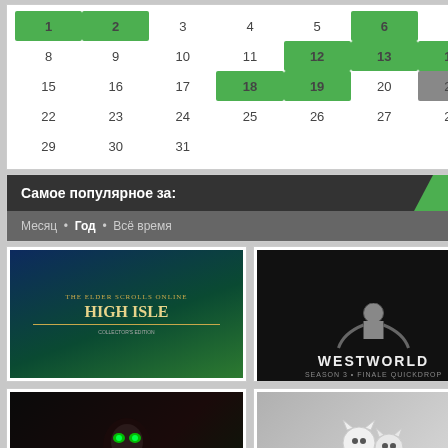[Figure (other): Calendar grid showing a month with dates 1-31. Dates 1,2,6 highlighted green in first row; 12,13,14 green; 18,19 green; 21 gray.]
Самое популярное за:
Месяц • Год • Всё время
[Figure (photo): Game cover art for 'High Isle' Elder Scrolls Online expansion]
[Figure (photo): TV show poster for 'Westworld' season 3]
[Figure (photo): Dark fantasy character with glowing green eyes (Warcraft)]
[Figure (photo): Animated movie poster with white cats]
Внимание! У вас нет ...
Вы вошли на сайт как...
Вы можете воспользо...
Логин к аккаунту: Те...
Пароль к аккаунту: s'...
Публикация была о...
Причина: Альбом за...
Прямая ссылка на эт...
https://3ost.ru/13290-th...
Голос...
Информация
Посетители, находящи...